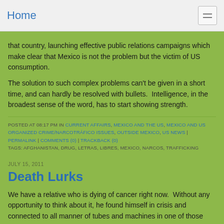Home
that country, launching effective public relations campaigns which make clear that Mexico is not the problem but the victim of US consumption.
The solution to such complex problems can't be given in a short time, and can hardly be resolved with bullets.  Intelligence, in the broadest sense of the word, has to start showing strength.
POSTED AT 08:17 PM IN CURRENT AFFAIRS, MEXICO AND THE US, MEXICO AND US ORGANIZED CRIME/NARCOTRÁFICO ISSUES, OUTSIDE MEXICO, US NEWS | PERMALINK | COMMENTS (0) | TRACKBACK (0)
TAGS: AFGHANISTAN, DRUG, LETRAS, LIBRES, MEXICO, NARCOS, TRAFFICKING
JULY 15, 2011
Death Lurks
We have a relative who is dying of cancer right now.  Without any opportunity to think about it, he found himself in crisis and connected to all manner of tubes and machines in one of those anonymous-looking